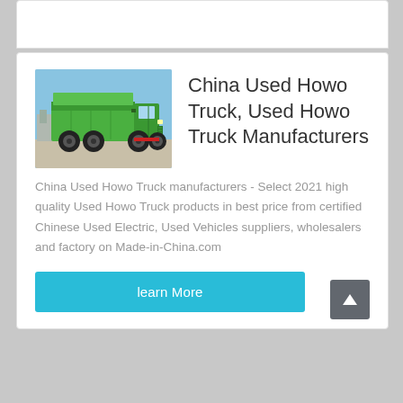[Figure (photo): Green Howo dump truck parked on a road with blue sky background]
China Used Howo Truck, Used Howo Truck Manufacturers
China Used Howo Truck manufacturers - Select 2021 high quality Used Howo Truck products in best price from certified Chinese Used Electric, Used Vehicles suppliers, wholesalers and factory on Made-in-China.com
learn More